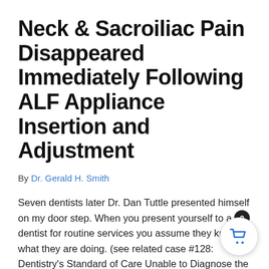Neck & Sacroiliac Pain Disappeared Immediately Following ALF Appliance Insertion and Adjustment
By Dr. Gerald H. Smith
Seven dentists later Dr. Dan Tuttle presented himself on my door step. When you present yourself to a dentist for routine services you assume they know what they are doing. (see related case #128: Dentistry's Standard of Care Unable to Diagnose the Real Cause of Complex Pain Patterns) Unfortunately, that is not always the case.
Read More